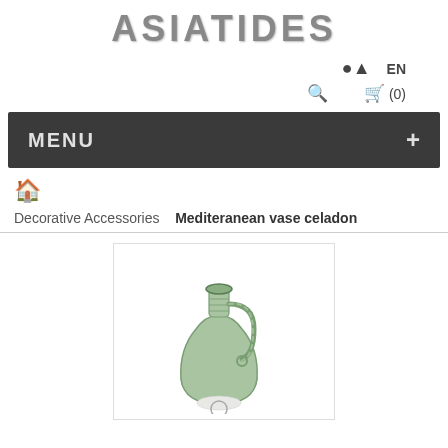ASIATIDES
EN  (0)
MENU +
🏠
Decorative Accessories  Mediteranean vase celadon
[Figure (photo): A celadon Mediterranean ceramic vase/jug with a ribbed body and twisted handle, shown on white background.]